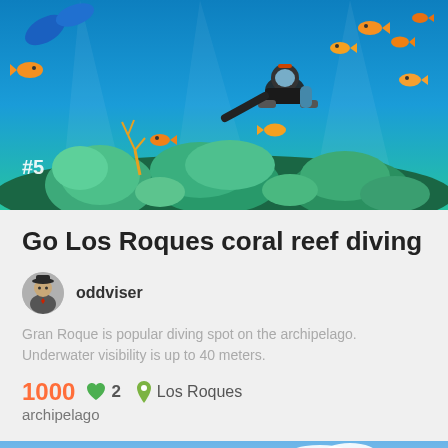[Figure (photo): Underwater coral reef diving scene with diver, colorful fish and coral. Badge showing #5 in bottom left corner.]
Go Los Roques coral reef diving
oddviser
Gran Roque is popular diving spot on the archipelago. Underwater visibility is up to 40 meters.
1000  ♥ 2  Los Roques archipelago
[Figure (photo): Mountain waterfall landscape with blue sky and clouds — Angel Falls or similar Venezuelan tepui.]